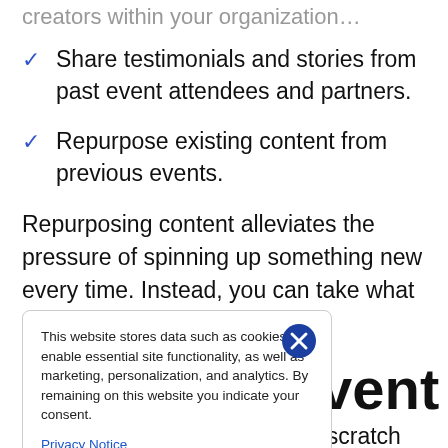Share testimonials and stories from past event attendees and partners.
Repurpose existing content from previous events.
Repurposing content alleviates the pressure of spinning up something new every time. Instead, you can take what you already have and reshape
vent
This website stores data such as cookies to enable essential site functionality, as well as marketing, personalization, and analytics. By remaining on this website you indicate your consent.
Privacy Notice
You know the old saying: You scratch my back,